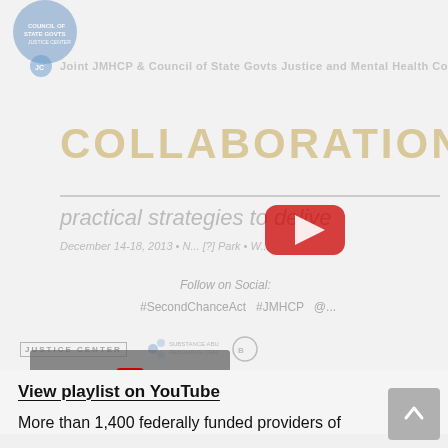[Figure (screenshot): YouTube video thumbnail showing a Justice and Mental Health Collaboration conference document with faded text including 'COLLABORATION', 'practical strategies to delive', 'December 14-18, 2013', 'Follow on Social:', '#SecondChanceAct #JMHCP', logos for Justice Center and Resource Center, and a YouTube play button overlay. A 'Watch on YouTube' button appears at the bottom left of the thumbnail.]
View playlist on YouTube
More than 1,400 federally funded providers of